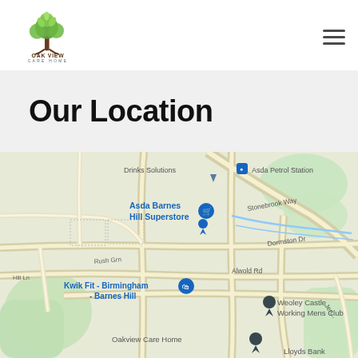[Figure (logo): Oak View Care Home logo with a tree illustration and text 'OAK VIEW CARE HOME']
Our Location
[Figure (map): Google Maps screenshot showing the location of Oakview Care Home near Asda Barnes Hill Superstore, Kwik Fit Birmingham Barnes Hill, Weoley Castle Working Mens Club, Drinks Solutions, Asda Petrol Station, Lloyds Bank, Stonebrook Way, Dormston Dr, Alwold Rd, Rush Grn in Birmingham.]